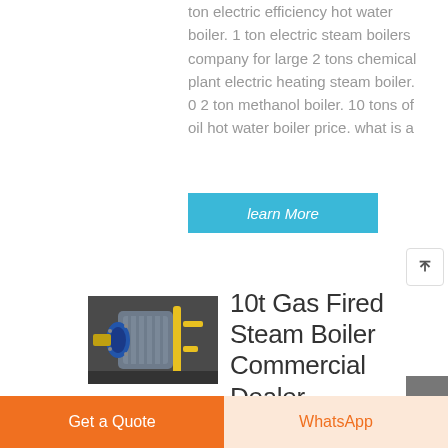ton electric efficiency hot water boiler. 1 ton electric steam boilers company for large 2 tons chemical plant electric heating steam boiler. 0 2 ton methanol boiler. 10 tons of oil hot water boiler price. what is a
learn More
[Figure (photo): Industrial gas fired steam boiler with yellow pipes and blue mechanical components]
10t Gas Fired Steam Boiler Commercial Dealer
Get a Quote
WhatsApp